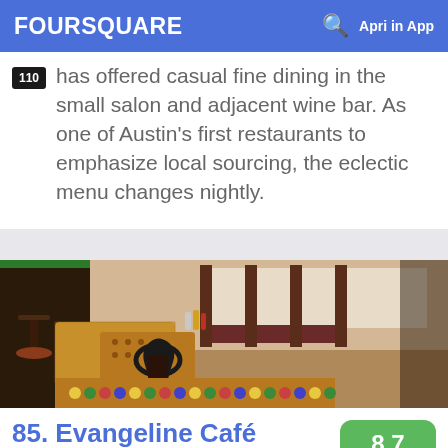FOURSQUARE  Apri in App
has offered casual fine dining in the small salon and adjacent wine bar. As one of Austin's first restaurants to emphasize local sourcing, the eclectic menu changes nightly.
[Figure (photo): Interior of Evangeline Café showing chairs, tables with mosaic tops, wooden bar stools, and a decorative tabletop in the foreground.]
85. Evangeline Café  8.7
8106 Brodie Ln (Alexandria Dr.), Austin, TX